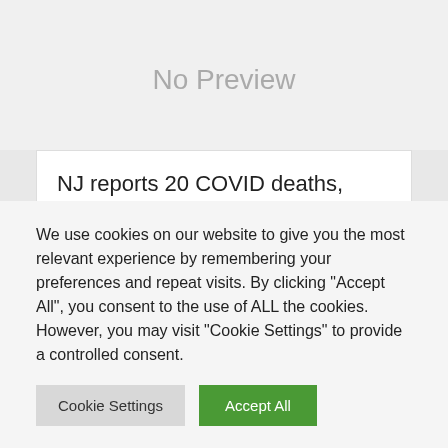[Figure (other): No Preview placeholder image area in light gray]
NJ reports 20 COVID deaths, 2,559 cases. Covid testing for international travel is set to end.
Scanspacetravel Admin   June 11, 2022
We use cookies on our website to give you the most relevant experience by remembering your preferences and repeat visits. By clicking "Accept All", you consent to the use of ALL the cookies. However, you may visit "Cookie Settings" to provide a controlled consent.